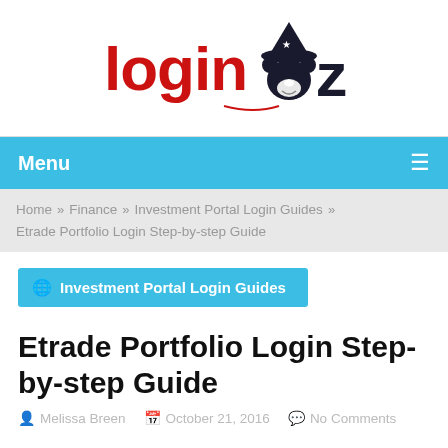[Figure (logo): LoginOz website logo: red 'login' text with dark blue 'Oz' and wizard hat bear mascot]
Menu ≡
Home » Finance » Investment Portal Login Guides » Etrade Portfolio Login Step-by-step Guide
Investment Portal Login Guides
Etrade Portfolio Login Step-by-step Guide
Melissa Breen   October 21, 2016   No Comments